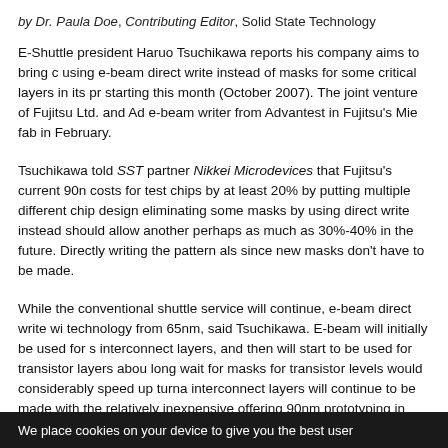by Dr. Paula Doe, Contributing Editor, Solid State Technology
E-Shuttle president Haruo Tsuchikawa reports his company aims to bring c using e-beam direct write instead of masks for some critical layers in its pr starting this month (October 2007). The joint venture of Fujitsu Ltd. and Ad e-beam writer from Advantest in Fujitsu's Mie fab in February.
Tsuchikawa told SST partner Nikkei Microdevices that Fujitsu's current 90n costs for test chips by at least 20% by putting multiple different chip design eliminating some masks by using direct write instead should allow another perhaps as much as 30%-40% in the future. Directly writing the pattern als since new masks don't have to be made.
While the conventional shuttle service will continue, e-beam direct write wi technology from 65nm, said Tsuchikawa. E-beam will initially be used for s interconnect layers, and then will start to be used for transistor layers abou long wait for masks for transistor levels would considerably speed up turna interconnect layers will continue to be made with the relatively inexpensive offering 90nm prototyping in February 2008, and 45nm in April 2009. Tsuc
We place cookies on your device to give you the best user